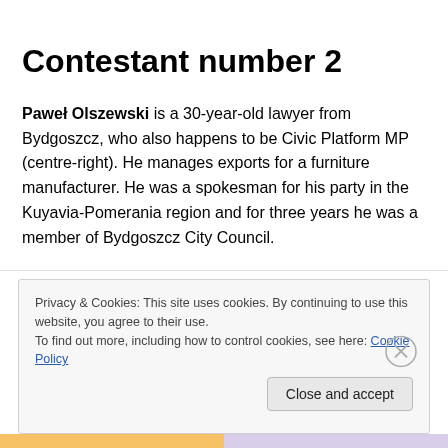Contestant number 2
Paweł Olszewski is a 30-year-old lawyer from Bydgoszcz, who also happens to be Civic Platform MP (centre-right). He manages exports for a furniture manufacturer. He was a spokesman for his party in the Kuyavia-Pomerania region and for three years he was a member of Bydgoszcz City Council.
In his own words: “My participation in socio-political life are
Privacy & Cookies: This site uses cookies. By continuing to use this website, you agree to their use.
To find out more, including how to control cookies, see here: Cookie Policy
Close and accept